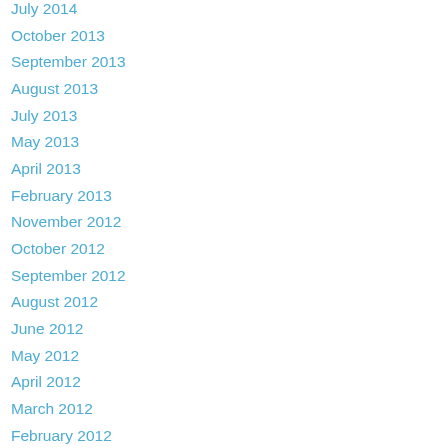July 2014
October 2013
September 2013
August 2013
July 2013
May 2013
April 2013
February 2013
November 2012
October 2012
September 2012
August 2012
June 2012
May 2012
April 2012
March 2012
February 2012
January 2012
December 2011
November 2011